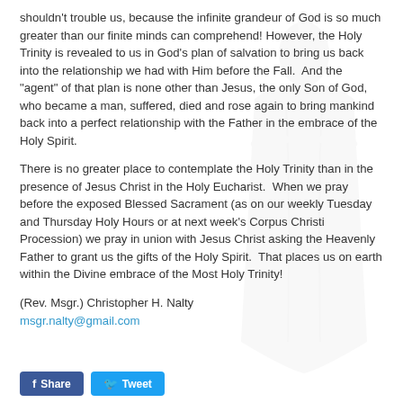shouldn't trouble us, because the infinite grandeur of God is so much greater than our finite minds can comprehend! However, the Holy Trinity is revealed to us in God's plan of salvation to bring us back into the relationship we had with Him before the Fall.  And the "agent" of that plan is none other than Jesus, the only Son of God, who became a man, suffered, died and rose again to bring mankind back into a perfect relationship with the Father in the embrace of the Holy Spirit.
There is no greater place to contemplate the Holy Trinity than in the presence of Jesus Christ in the Holy Eucharist.  When we pray before the exposed Blessed Sacrament (as on our weekly Tuesday and Thursday Holy Hours or at next week's Corpus Christi Procession) we pray in union with Jesus Christ asking the Heavenly Father to grant us the gifts of the Holy Spirit.  That places us on earth within the Divine embrace of the Most Holy Trinity!
(Rev. Msgr.) Christopher H. Nalty
msgr.nalty@gmail.com
[Figure (illustration): Faint background illustration of a religious figure (likely a robed saint or Madonna), partially visible on the right side of the page, very low opacity.]